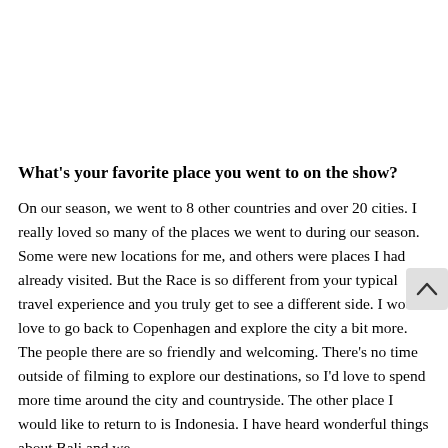What's your favorite place you went to on the show?
On our season, we went to 8 other countries and over 20 cities. I really loved so many of the places we went to during our season. Some were new locations for me, and others were places I had already visited. But the Race is so different from your typical travel experience and you truly get to see a different side. I would love to go back to Copenhagen and explore the city a bit more. The people there are so friendly and welcoming. There's no time outside of filming to explore our destinations, so I'd love to spend more time around the city and countryside. The other place I would like to return to is Indonesia. I have heard wonderful things about Bali and we